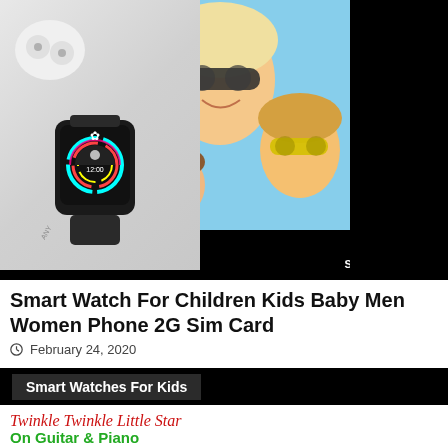[Figure (photo): Product image showing a smartwatch with colorful circular display and white earbuds on left, and two smiling women wearing sunglasses on right, with a black background]
Smart Watch For Children Kids Baby Men Women Phone 2G Sim Card
February 24, 2020
[Figure (photo): Black banner with label 'Smart Watches For Kids']
[Figure (photo): Card with text 'Twinkle Twinkle Little Star On Guitar & Piano' with a child silhouette]